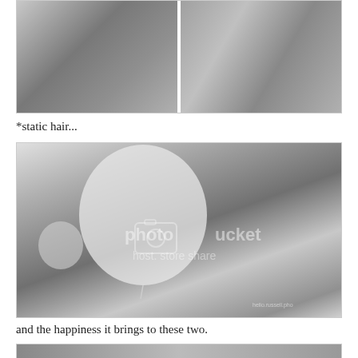[Figure (photo): Black and white photo (top portion) showing children with balloons, two panels side by side]
*static hair...
[Figure (photo): Black and white photo of a young girl with a balloon near her face, another child behind her doing bunny ears gesture, Photobucket watermark visible]
and the happiness it brings to these two.
[Figure (photo): Black and white photo (bottom, partially visible), cropped]